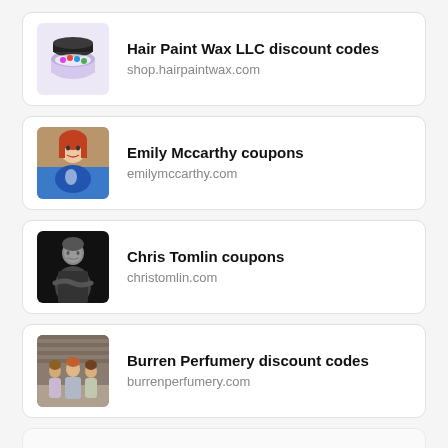[Figure (photo): Hair Paint Wax product jar with purple lid and colorful label]
Hair Paint Wax LLC discount codes
shop.hairpaintwax.com
[Figure (photo): Emily Mccarthy - woman with red hair smiling, wearing blue floral outfit]
Emily Mccarthy coupons
emilymccarthy.com
[Figure (photo): Chris Tomlin - man in black and white photo standing with arms crossed]
Chris Tomlin coupons
christomlin.com
[Figure (photo): Burren Perfumery - group of people standing outside a stone building]
Burren Perfumery discount codes
burrenperfumery.com